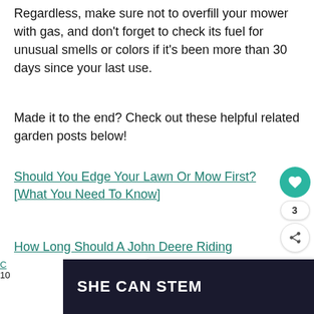Regardless, make sure not to overfill your mower with gas, and don't forget to check its fuel for unusual smells or colors if it's been more than 30 days since your last use.
Made it to the end? Check out these helpful related garden posts below!
Should You Edge Your Lawn Or Mow First? [What You Need To Know]
How Long Should A John Deere Riding Mower Last?
[Figure (other): What's Next widget showing a riding lawn mower thumbnail with text 'How To Make A Riding La...']
[Figure (other): SHE CAN STEM advertisement banner with dark background and white bold text]